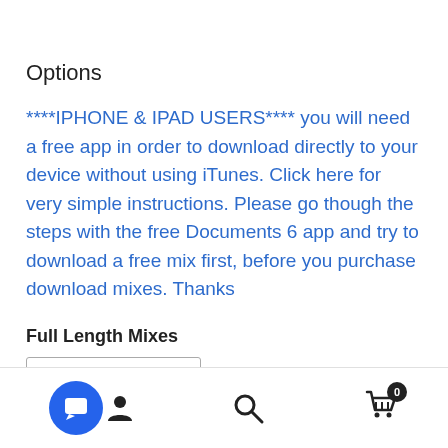Options
****IPHONE & IPAD USERS**** you will need a free app in order to download directly to your device without using iTunes. Click here for very simple instructions. Please go though the steps with the free Documents 6 app and try to download a free mix first, before you purchase download mixes. Thanks
Full Length Mixes
Choose an option
[Figure (screenshot): Bottom navigation bar with chat/user icon on the left, search icon in the center, and shopping cart icon with badge showing 0 on the right]